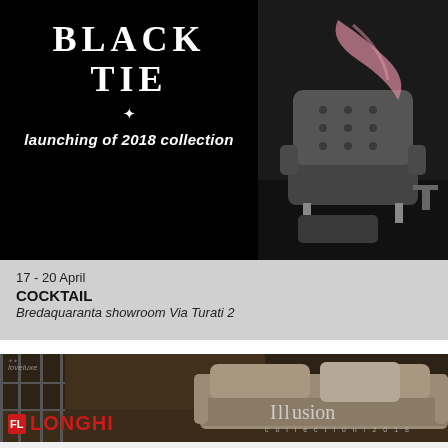BLACK TIE
launching of 2018 collection
[Figure (photo): Black and white photo of ornate tufted furniture/armchair with pink brush stroke accent]
17 - 20 April
COCKTAIL
Bredaquaranta showroom Via Turati 2
[Figure (photo): Sepia-toned interior photo of Longhi showroom with sofa/couch and glass partition walls, with loveluxe watermark, Longhi logo, and Illusion collection/2018 branding]
17 - 20 April